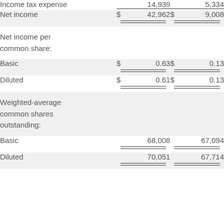|  | Col1 | Col2 |
| --- | --- | --- |
| Income tax expense | 14,939 | 5,334 |
| Net income | $ 42,962 | $ 9,008 |
| Net income per common share: |  |  |
| Basic | $ 0.63 | $ 0.13 |
| Diluted | $ 0.61 | $ 0.13 |
| Weighted-average common shares outstanding: |  |  |
| Basic | 68,008 | 67,094 |
| Diluted | 70,051 | 67,714 |